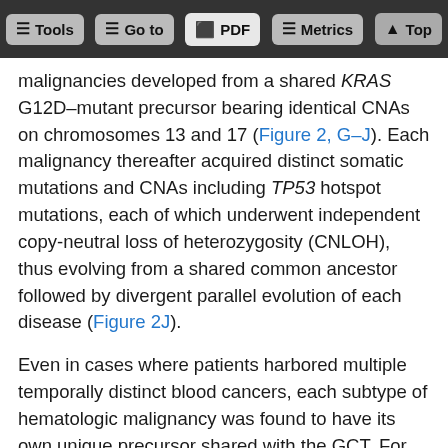Tools | Go to | PDF | Metrics | Top
malignancies developed from a shared KRAS G12D–mutant precursor bearing identical CNAs on chromosomes 13 and 17 (Figure 2, G–J). Each malignancy thereafter acquired distinct somatic mutations and CNAs including TP53 hotspot mutations, each of which underwent independent copy-neutral loss of heterozygosity (CNLOH), thus evolving from a shared common ancestor followed by divergent parallel evolution of each disease (Figure 2J).
Even in cases where patients harbored multiple temporally distinct blood cancers, each subtype of hematologic malignancy was found to have its own unique precursor shared with the GCT. For example, we studied a 19-year-old patient who developed